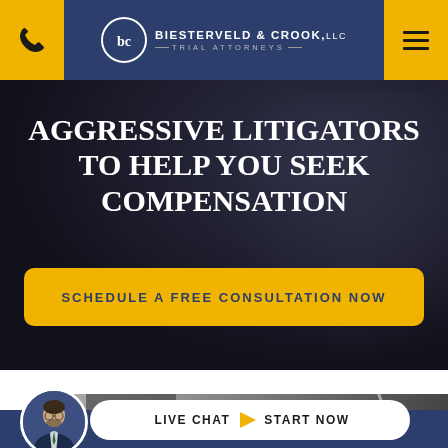[Figure (screenshot): Law firm website header with yellow phone button on left, Biesterveld & Crook LLC Trial Attorneys logo in center on dark navy background, and yellow hamburger menu button on right]
AGGRESSIVE LITIGATORS TO HELP YOU SEEK COMPENSATION
SCHEDULE A FREE CONSULTATION NOW
[Figure (photo): Blurred dark background photo showing a person in a suit with a watch, suggesting a professional/lawyer setting]
[Figure (photo): Photo of desk with tablet/phone and pen, partially visible at bottom of page]
LIVE CHAT  START NOW